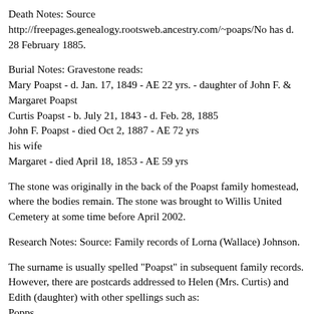Death Notes: Source http://freepages.genealogy.rootsweb.ancestry.com/~poaps/No has d. 28 February 1885.
Burial Notes: Gravestone reads:
Mary Poapst - d. Jan. 17, 1849 - AE 22 yrs. - daughter of John F. & Margaret Poapst
Curtis Poapst - b. July 21, 1843 - d. Feb. 28, 1885
John F. Poapst - died Oct 2, 1887 - AE 72 yrs
his wife
Margaret - died April 18, 1853 - AE 59 yrs
The stone was originally in the back of the Poapst family homestead, where the bodies remain. The stone was brought to Willis United Cemetery at some time before April 2002.
Research Notes: Source: Family records of Lorna (Wallace) Johnson.
The surname is usually spelled "Poapst" in subsequent family records. However, there are postcards addressed to Helen (Mrs. Curtis) and Edith (daughter) with other spellings such as:
Popps.